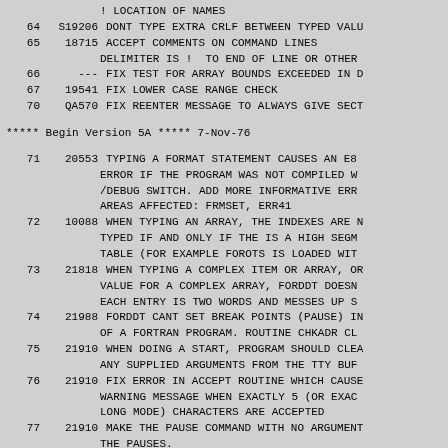! LOCATION OF NAMES
64   S19206   DONT TYPE EXTRA CRLF BETWEEN TYPED VALU
65   18715    ACCEPT COMMENTS ON COMMAND LINES
                    DELIMITER IS !  TO END OF LINE OR OTHER
66   ---      FIX TEST FOR ARRAY BOUNDS EXCEEDED IN D
67   19541    FIX LOWER CASE RANGE CHECK
70   QA570    FIX REENTER MESSAGE TO ALWAYS GIVE SECT
***** Begin Version 5A ***** 7-Nov-76
71   20553    TYPING A FORMAT STATEMENT CAUSES AN E8
                    ERROR IF THE PROGRAM WAS NOT COMPILED W
                    /DEBUG SWITCH. ADD MORE INFORMATIVE ERR
                    AREAS AFFECTED: FRMSET, ERR41
72   10088    WHEN TYPING AN ARRAY, THE INDEXES ARE N
                    TYPED IF AND ONLY IF THE IS A HIGH SEGM
                    TABLE (FOR EXAMPLE FOROTS IS LOADED WIT
73   21818    WHEN TYPING A COMPLEX ITEM OR ARRAY, OR
                    VALUE FOR A COMPLEX ARRAY, FORDDT DOESN
                    EACH ENTRY IS TWO WORDS AND MESSES UP S
74   21988    FORDDT CANT SET BREAK POINTS (PAUSE) IN
                    OF A FORTRAN PROGRAM. ROUTINE CHKADR CL
75   21910    WHEN DOING A START, PROGRAM SHOULD CLEA
                    ANY SUPPLIED ARGUMENTS FROM THE TTY BUF
76   21910    FIX ERROR IN ACCEPT ROUTINE WHICH CAUSE
                    WARNING MESSAGE WHEN EXACTLY 5 (OR EXAC
                    LONG MODE) CHARACTERS ARE ACCEPTED
77   21910    MAKE THE PAUSE COMMAND WITH NO ARGUMENT
                    THE PAUSES.
100           Add TOPS20 conditional, make FORDDT run
                    mode under TOPS-20